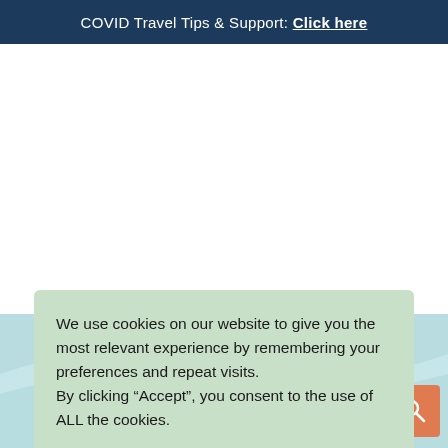COVID Travel Tips & Support: Click here
[Figure (screenshot): White area with teal wavy background and partial text 'ation' visible, representing a travel website landing page background]
We use cookies on our website to give you the most relevant experience by remembering your preferences and repeat visits. By clicking “Accept”, you consent to the use of ALL the cookies.
Cookie settings
ACCEPT